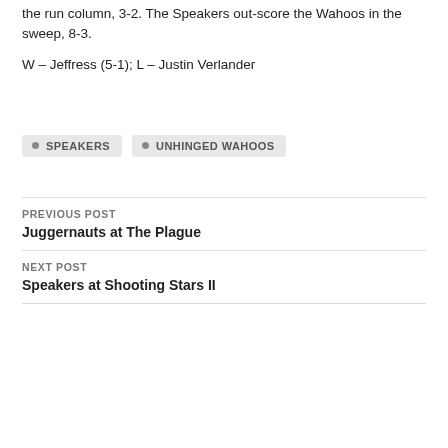the run column, 3-2. The Speakers out-score the Wahoos in the sweep, 8-3.
W – Jeffress (5-1); L – Justin Verlander
SPEAKERS
UNHINGED WAHOOS
PREVIOUS POST
Juggernauts at The Plague
NEXT POST
Speakers at Shooting Stars II